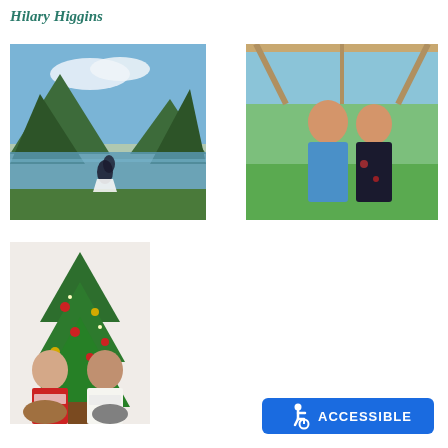Hilary Higgins
[Figure (photo): Wedding photo of a couple embracing by a mountain lake with scenic forested mountains and blue sky in the background]
[Figure (photo): Couple posing outdoors in front of a wooden pavilion structure, man in blue shirt and woman in black dress, man holding a drink]
[Figure (photo): Couple sitting in front of a decorated Christmas tree with two dogs, both wearing white t-shirts]
[Figure (infographic): Blue accessible/wheelchair symbol badge with the word ACCESSIBLE in white bold text]